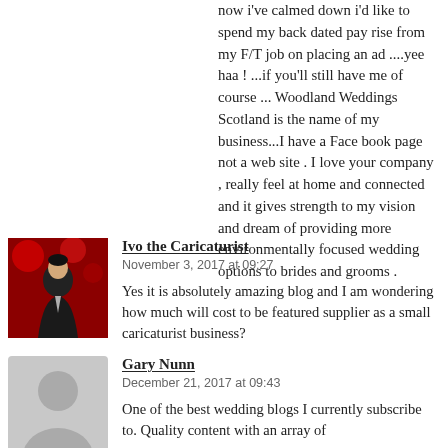now i've calmed down i'd like to spend my back dated pay rise from my F/T job on placing an ad ....yee haa ! ...if you'll still have me of course ... Woodland Weddings Scotland is the name of my business...I have a Face book page not a web site . I love your company , really feel at home and connected and it gives strength to my vision and dream of providing more environmentally focused wedding options to brides and grooms .
[Figure (photo): Profile photo of Ivo the Caricaturist — man in dark suit against red Christmas ornaments background]
Ivo the Caricaturist
November 3, 2017 at 09:27
Yes it is absolutely amazing blog and I am wondering how much will cost to be featured supplier as a small caricaturist business?
[Figure (illustration): Generic gray silhouette avatar placeholder for user with no photo]
Gary Nunn
December 21, 2017 at 09:43
One of the best wedding blogs I currently subscribe to. Quality content with an array of